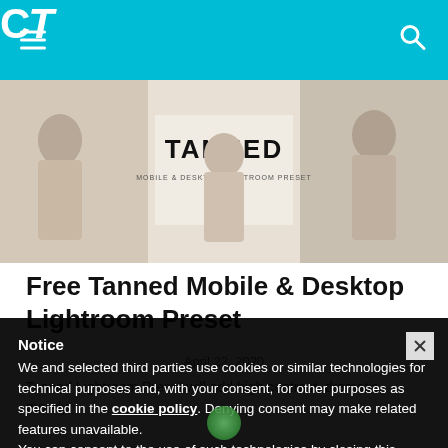CT (logo header with hamburger menu and search icon)
[Figure (photo): Hero image showing a promotional banner for 'TANNED Mobile & Desktop Lightroom Preset' with three photos of women in summer outfits.]
Free Tanned Mobile & Desktop Lightroom Preset
April 22, 2020
Tanned Lightroom Preset will add high contrast, dramatic, moody
Notice
We and selected third parties use cookies or similar technologies for technical purposes and, with your consent, for other purposes as specified in the cookie policy. Denying consent may make related features unavailable.
You can consent to the use of such technologies by closing this notice, by scrolling this page, by interacting with any link or button outside of this notice or by continuing to browse otherwise.